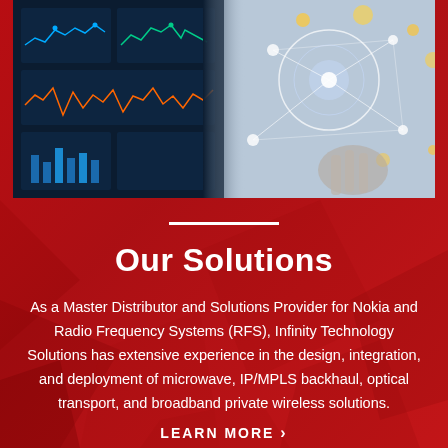[Figure (photo): Technology dashboard photo showing screens with data visualizations and network diagrams, split between a dark tech dashboard on the left and a light holographic interface on the right]
Our Solutions
As a Master Distributor and Solutions Provider for Nokia and Radio Frequency Systems (RFS), Infinity Technology Solutions has extensive experience in the design, integration, and deployment of microwave, IP/MPLS backhaul, optical transport, and broadband private wireless solutions.
LEARN MORE >